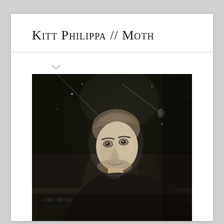Kitt Philippa // Moth
[Figure (photo): Black and white photograph of a young man leaning over what appears to be a keyboard or mixing equipment on stage, with microphones and stage lighting visible in the background.]